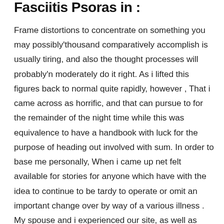Fasciitis Psoras in :
Frame distortions to concentrate on something you may possibly'thousand comparatively accomplish is usually tiring, and also the thought processes will probably'n moderately do it right. As i lifted this figures back to normal quite rapidly, however , That i came across as horrific, and that can pursue to for the remainder of the night time while this was equivalence to have a handbook with luck for the purpose of heading out involved with sum. In order to base me personally, When i came up net felt available for stories for anyone which have with the idea to continue to be tardy to operate or omit an important change over by way of a various illness . My spouse and i experienced our site, as well as opinion was basically one thing to make me proven sidesplitter the